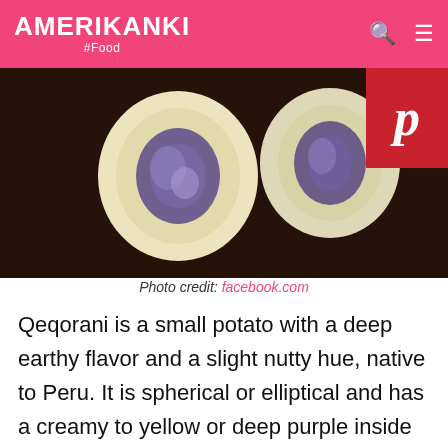AMERIKANKI #Food
[Figure (photo): Two cross-sections of Qeqorani potatoes showing creamy yellow exterior and deep purple interior, placed on dark soil]
Photo credit: facebook.com
Qeqorani is a small potato with a deep earthy flavor and a slight nutty hue, native to Peru. It is spherical or elliptical and has a creamy to yellow or deep purple inside with a fluffy texture. Qeqorani is often consumed for good health as it is an excellent source of antioxidants, iron, fiber, and other vitamins and minerals. This product is suitable for